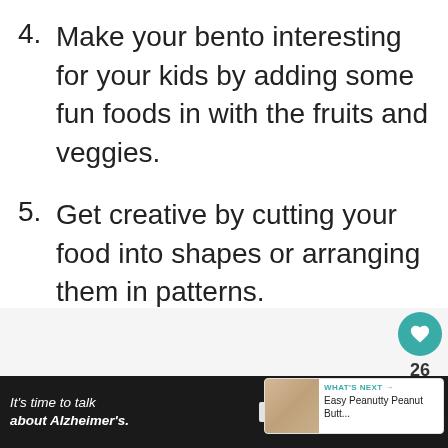4. Make your bento interesting for your kids by adding some fun foods in with the fruits and veggies.
5. Get creative by cutting your food into shapes or arranging them in patterns.
[Figure (screenshot): Heart icon button (teal/aqua circle with white heart) and share icon button, with count 26 between them — social interaction widgets on the right side of the page.]
[Figure (screenshot): What's Next card showing a small food thumbnail image and text: WHAT'S NEXT → Easy Peanutty Peanut Butt...]
[Figure (screenshot): Advertisement banner: dark background, italic text 'It's time to talk about Alzheimer's.' with a LEARN MORE button, Alzheimer's Association logo, and Weight Watchers (WW) logo.]